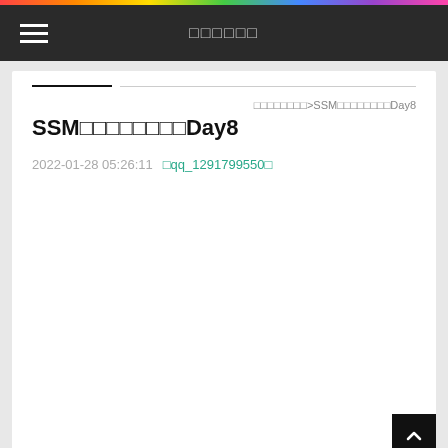□□□□□□
□□□□□□□□>SSM□□□□□□□□Day8
SSM□□□□□□□□Day8
2022-01-28 05:26:11   □qq_1291799550□